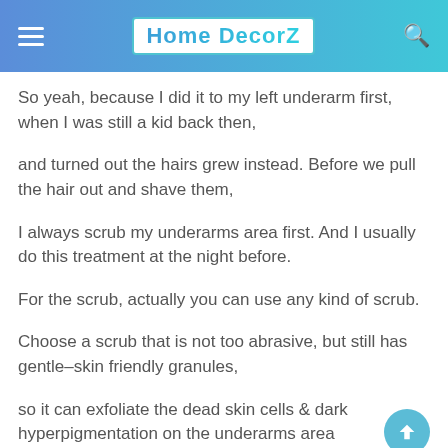Home DecorZ
So yeah, because I did it to my left underarm first, when I was still a kid back then,
and turned out the hairs grew instead. Before we pull the hair out and shave them,
I always scrub my underarms area first. And I usually do this treatment at the night before.
For the scrub, actually you can use any kind of scrub.
Choose a scrub that is not too abrasive, but still has gentle–skin friendly granules,
so it can exfoliate the dead skin cells & dark hyperpigmentation on the underarms area